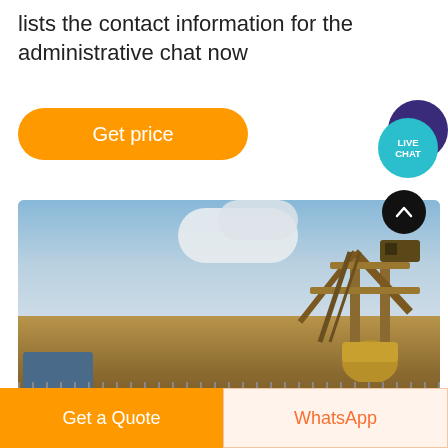lists the contact information for the administrative chat now
[Figure (illustration): Orange rounded 'Get price' button]
[Figure (illustration): Live chat speech bubble icon (teal circle with 'LIVE CHAT' text, dark purple bubble behind)]
[Figure (photo): Outdoor photo of mining/quarry equipment (yellow conveyor/crusher machinery) against a blue sky with clouds, with a blue truck on the left and fencing in the foreground]
[Figure (illustration): Black circular scroll-up button with upward chevron arrow]
[Figure (illustration): Bottom bar with orange 'Get a Quote' button on left and white/light 'WhatsApp' button on right]